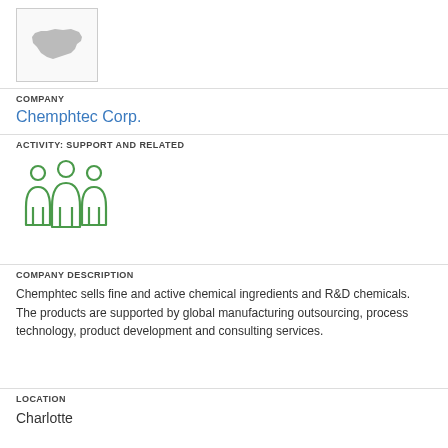[Figure (illustration): Company logo placeholder showing a North Carolina state outline silhouette in grey on white background with a light grey border]
COMPANY
Chemphtec Corp.
ACTIVITY: SUPPORT AND RELATED
[Figure (illustration): Three people/group icon in green outline style representing a team or group of people]
COMPANY DESCRIPTION
Chemphtec sells fine and active chemical ingredients and R&D chemicals. The products are supported by global manufacturing outsourcing, process technology, product development and consulting services.
LOCATION
Charlotte